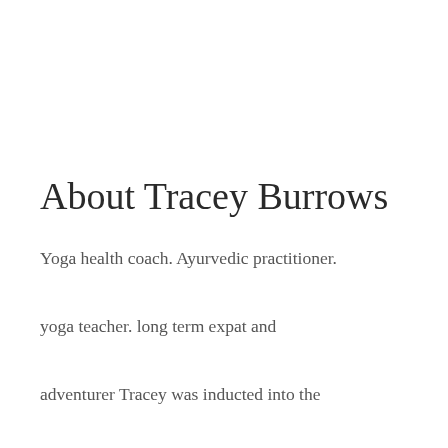About Tracey Burrows
Yoga health coach. Ayurvedic practitioner. yoga teacher. long term expat and adventurer Tracey was inducted into the Sivananda Yoga lineage in 2016 in Kerala. South India. She has strong ties with Kerala having trained in Yoga and